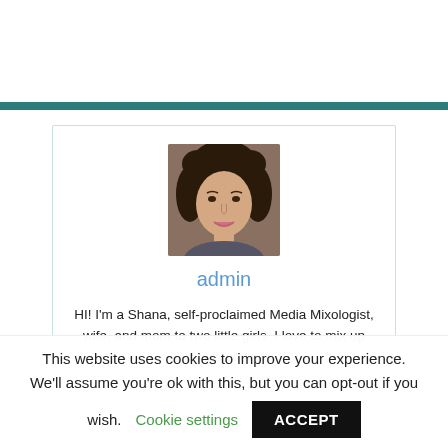[Figure (photo): Profile photo of a woman with curly brown hair, smiling]
admin
HI! I'm a Shana, self-proclaimed Media Mixologist, wife, and mom to two little girls. I love to mix up cocktails of crafts,
This website uses cookies to improve your experience. We'll assume you're ok with this, but you can opt-out if you wish. Cookie settings ACCEPT